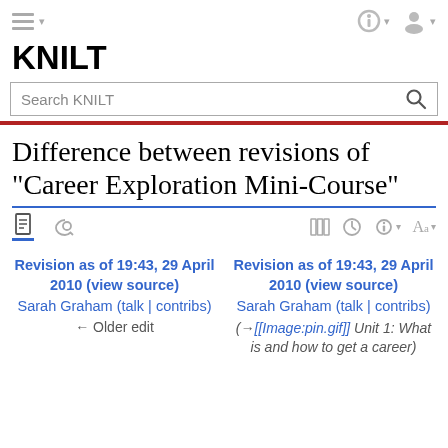KNILT
Difference between revisions of "Career Exploration Mini-Course"
Revision as of 19:43, 29 April 2010 (view source)
Sarah Graham (talk | contribs)
← Older edit
Revision as of 19:43, 29 April 2010 (view source)
Sarah Graham (talk | contribs)
(→[[Image:pin.gif]] Unit 1: What is and how to get a career)